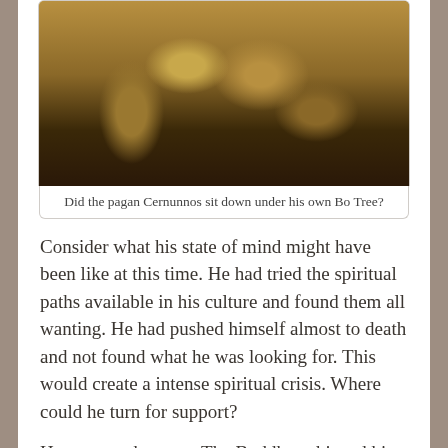[Figure (photo): A gold/bronze relief sculpture showing Cernunnos or a similar pagan deity figure seated among animals, with intertwining serpentine forms. The image is partially damaged or fragmented. Tones are golden-brown and sepia.]
Did the pagan Cernunnos sit down under his own Bo Tree?
Consider what his state of mind might have been like at this time. He had tried the spiritual paths available in his culture and found them all wanting. He had pushed himself almost to death and not found what he was looking for. This would create a intense spiritual crisis. Where could he turn for support?
He went to the trees. The Buddha achieved his enlightenment while sitting alone under a tree.